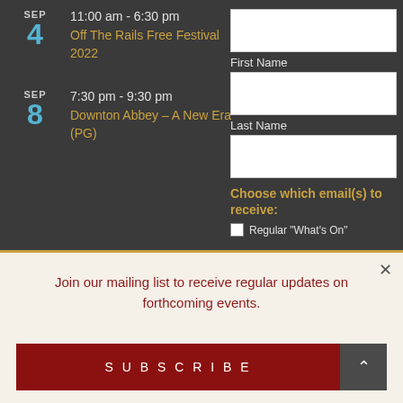SEP 4 | 11:00 am - 6:30 pm | Off The Rails Free Festival 2022
SEP 8 | 7:30 pm - 9:30 pm | Downton Abbey – A New Era (PG)
First Name
Last Name
Choose which email(s) to receive:
Regular "What's On"
Join our mailing list to receive regular updates on forthcoming events.
SUBSCRIBE